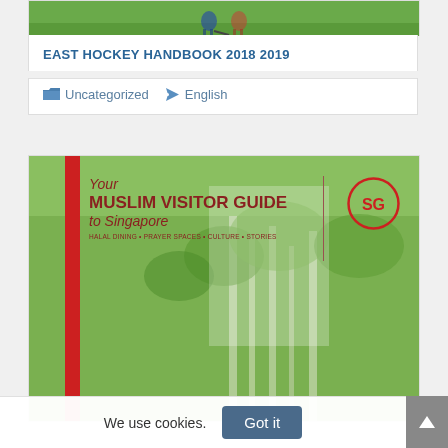[Figure (photo): Hockey players on a green pitch, bottom portion of players' legs and hockey sticks visible]
EAST HOCKEY HANDBOOK 2018 2019
Uncategorized  English
[Figure (photo): Cover of 'Your Muslim Visitor Guide to Singapore' - red stripe on left, red vertical divider line, SG logo circle on right, tropical forest background]
We use cookies.